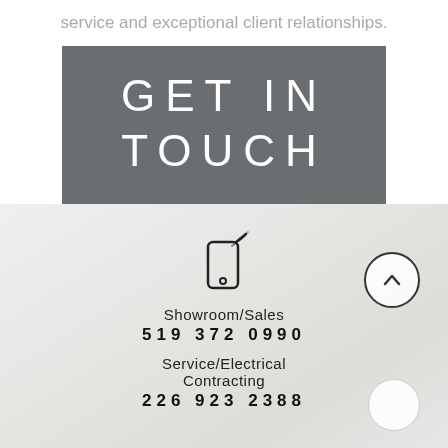service and exceptional client relationships.
GET IN TOUCH
[Figure (illustration): Phone icon with signal waves, showroom/sales number 519 372 0990, service/electrical contracting number 226 923 2388, two circular arrow buttons on the right side, light interior background image]
Showroom/Sales
519 372 0990
Service/Electrical Contracting
226 923 2388